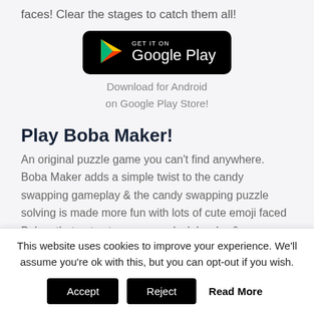faces! Clear the stages to catch them all!
[Figure (logo): Google Play Store badge — GET IT ON Google Play, black rounded rectangle with Play Store triangle logo]
Download for Android
on Google Play Store!
Play Boba Maker!
An original puzzle game you can't find anywhere. Boba Maker adds a simple twist to the candy swapping gameplay & the candy swapping puzzle solving is made more fun with lots of cute emoji faced Bobas that get cuter as you unlock harder & more challenging stages!
This website uses cookies to improve your experience. We'll assume you're ok with this, but you can opt-out if you wish.
Accept   Reject   Read More